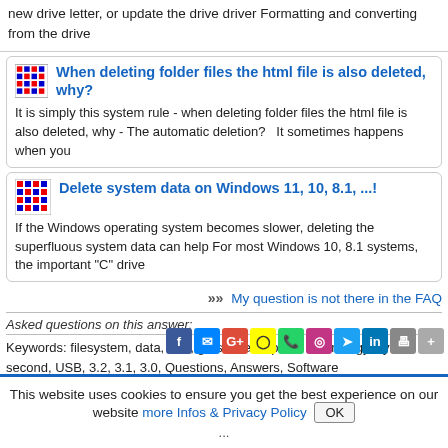new drive letter, or update the drive driver Formatting and converting from the drive
When deleting folder files the html file is also deleted, why?
It is simply this system rule - when deleting folder files the html file is also deleted, why -  The automatic deletion?   It sometimes happens when you
Delete system data on Windows 11, 10, 8.1, ...!
If the Windows operating system becomes slower, deleting the superfluous system data can help For most Windows 10, 8.1 systems, the important "C" drive
»»  My question is not there in the FAQ
Asked questions on this answer:
Keywords: filesystem, data, rate, gross, description, technology, bytes, second, USB, 3.2, 3.1, 3.0, Questions, Answers, Software
This website uses cookies to ensure you get the best experience on our website more Infos & Privacy Policy  OK
...